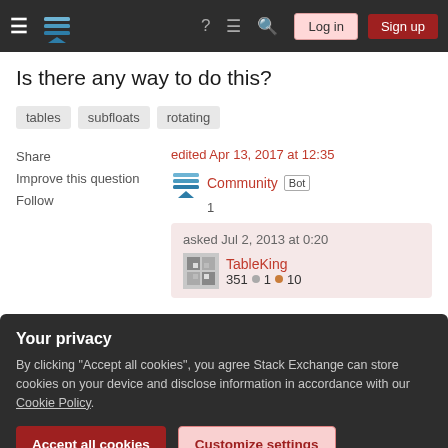Stack Exchange navigation bar with Log in and Sign up buttons
Is there any way to do this?
tables
subfloats
rotating
Share  Improve this question  Follow
edited Apr 13, 2017 at 12:35  Community Bot  1
asked Jul 2, 2013 at 0:20  TableKing  351  1  10
Your privacy
By clicking "Accept all cookies", you agree Stack Exchange can store cookies on your device and disclose information in accordance with our Cookie Policy.
Accept all cookies   Customize settings
between subcaption and caption) 2. the subcaption